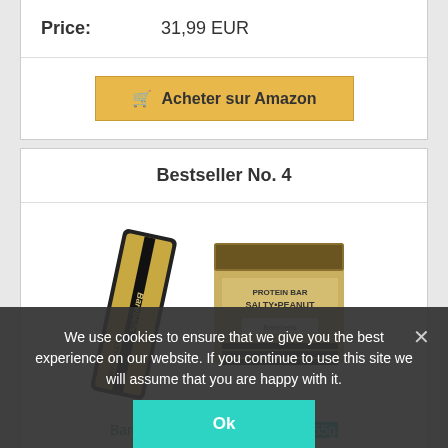Price:  31,99 EUR
Acheter sur Amazon
Bestseller No.  4
[Figure (photo): Barebells Salty Peanut protein bar product photo showing a single wrapped bar and a box of 12 bars]
Barebells Barre de proteine, 12x55g chocolat p... lty Peanut)
We use cookies to ensure that we give you the best experience on our website. If you continue to use this site we will assume that you are happy with it.
Ok